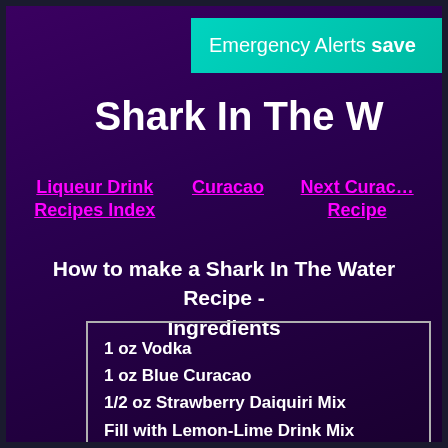Emergency Alerts save
Shark In The W
Liqueur Drink Recipes Index
Curacao
Next Curacao Recipe
How to make a Shark In The Water Recipe - Ingredients
1 oz Vodka
1 oz Blue Curacao
1/2 oz Strawberry Daiquiri Mix
Fill with Lemon-Lime Drink Mix
CHEERS!